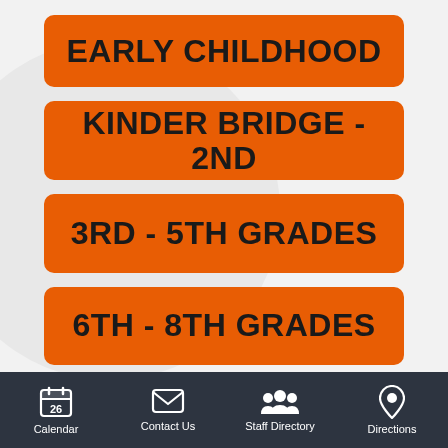EARLY CHILDHOOD
KINDER BRIDGE - 2ND
3RD - 5TH GRADES
6TH - 8TH GRADES
Calendar  Contact Us  Staff Directory  Directions